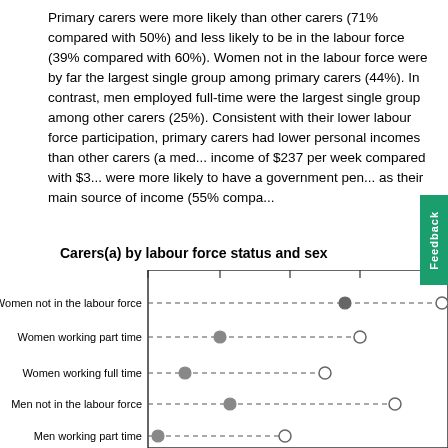Primary carers were more likely than other carers (71% compared with 50%) and less likely to be in the labour force (39% compared with 60%). Women not in the labour force were by far the largest single group among primary carers (44%). In contrast, men employed full-time were the largest single group among other carers (25%). Consistent with their lower labour force participation, primary carers had lower personal incomes than other carers (a median personal income of $237 per week compared with $3...) were more likely to have a government pension... as their main source of income (55% compa...
Carers(a) by labour force status and sex
[Figure (scatter-plot): Dot plot showing primary carers (filled circles) vs other carers (open circles) for each labour force status category, connected by dashed lines]